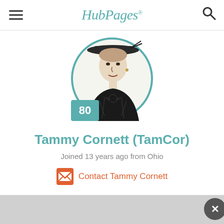HubPages
[Figure (illustration): Circular profile avatar showing a vintage illustration of a woman in a dark dress wearing a hat, with a teal/turquoise circular border. A teal square badge with the number 80 overlays the lower left of the circle.]
Tammy Cornett (TamCor)
Joined 13 years ago from Ohio
Contact Tammy Cornett